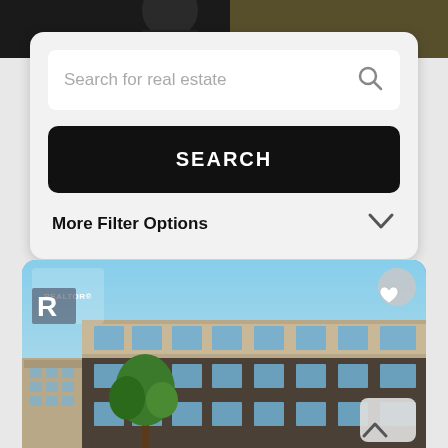[Figure (photo): Top strip showing partial photo of a person in dark clothing, cropped]
Search for real estate
SEARCH
More Filter Options
[Figure (photo): Real estate listing photo showing a modern multi-storey residential building with brown/grey facade, large windows, and a tree in front. REALTOR logo in top-left, heart icon in top-right, up-arrow button in bottom-right.]